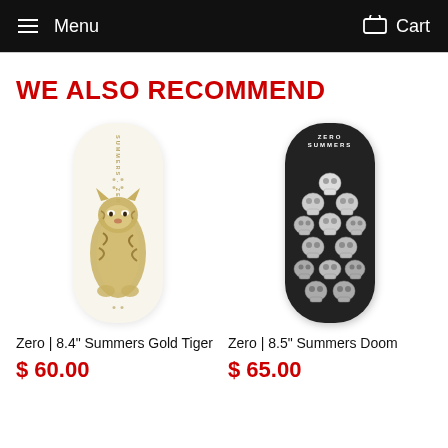Menu  Cart
WE ALSO RECOMMEND
[Figure (photo): Zero 8.4 inch Summers Gold Tiger skateboard deck - white/cream colored board with tiger illustration]
Zero | 8.4" Summers Gold Tiger
$ 60.00
[Figure (photo): Zero 8.5 inch Summers Doom skateboard deck - black board with skulls illustration]
Zero | 8.5" Summers Doom
$ 65.00